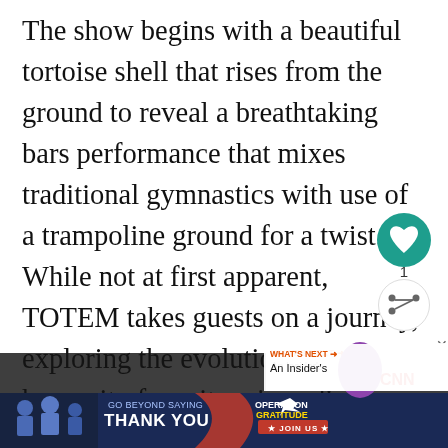The show begins with a beautiful tortoise shell that rises from the ground to reveal a breathtaking bars performance that mixes traditional gymnastics with use of a trampoline ground for a twist. While not at first apparent, TOTEM takes guests on a journey, exploring the evolution of humanity from its primordial, amphibian state towards the aspiration of flight, taking inspiration from may of humanity's
[Figure (screenshot): UI overlay with heart/like button (teal circle) and share button (white circle with share icon), count label '1', and 'WHAT'S NEXT' sidebar panel and ad banner at bottom reading 'GO BEYOND SAYING THANK YOU / OPERATION GRATITUDE / JOIN US']